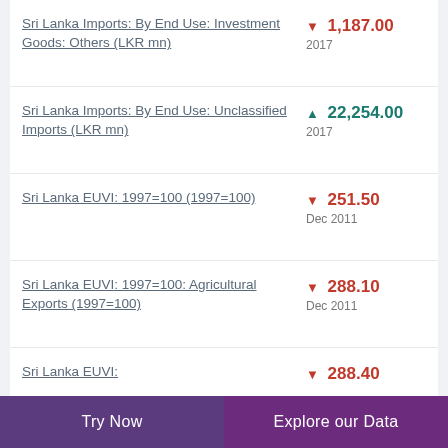Sri Lanka Imports: By End Use: Investment Goods: Others (LKR mn)
Sri Lanka Imports: By End Use: Unclassified Imports (LKR mn)
Sri Lanka EUVI: 1997=100 (1997=100)
Sri Lanka EUVI: 1997=100: Agricultural Exports (1997=100)
Sri Lanka EUVI:
Try Now | Explore our Data